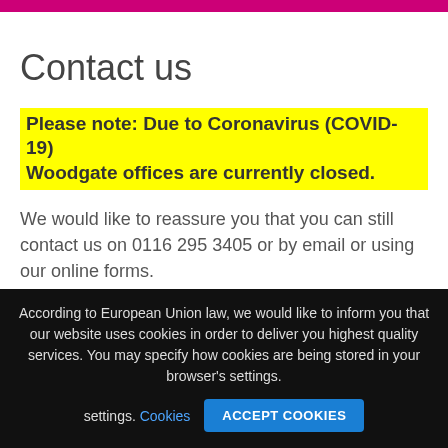Contact us
Please note: Due to Coronavirus (COVID-19) Woodgate offices are currently closed.
We would like to reassure you that you can still contact us on 0116 295 3405 or by email or using our online forms.
Thank you for your patience and cooperation.
If you would like to get in touch with us you
According to European Union law, we would like to inform you that our website uses cookies in order to deliver you highest quality services. You may specify how cookies are being stored in your browser's settings. Cookies  ACCEPT COOKIES